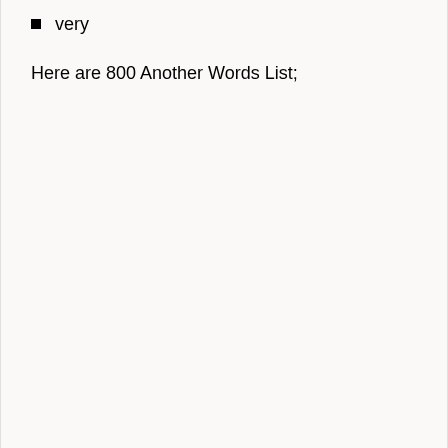very
Here are 800 Another Words List;